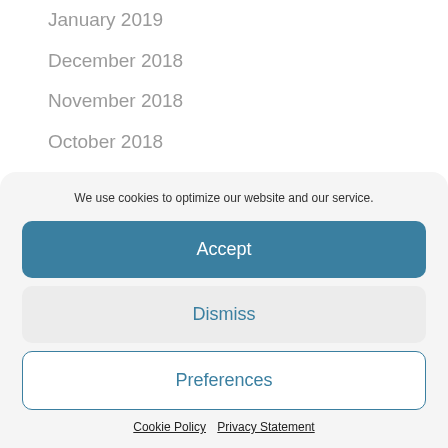January 2019
December 2018
November 2018
October 2018
August 2018
We use cookies to optimize our website and our service.
Accept
Dismiss
Preferences
Cookie Policy  Privacy Statement